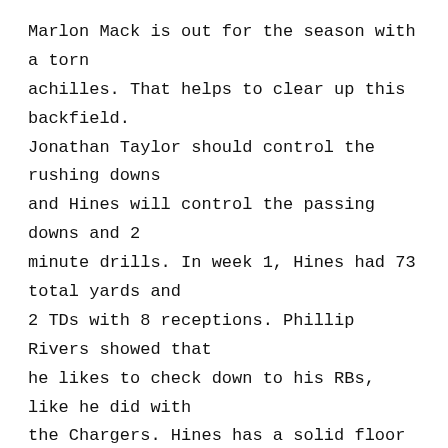Marlon Mack is out for the season with a torn achilles. That helps to clear up this backfield. Jonathan Taylor should control the rushing downs and Hines will control the passing downs and 2 minute drills. In week 1, Hines had 73 total yards and 2 TDs with 8 receptions. Phillip Rivers showed that he likes to check down to his RBs, like he did with the Chargers. Hines has a solid floor with high upside. He plays a Minnesota defense in Week 2 that didn't play well against the Packers last week.
James Robinson, Jacksonville Jaguars, 29.1%
Robinson proved himself to be the RB1 in this offense. He rushed for 62 yards on 16 carries (3.9 yards per carry). He was the only RB with a rushing